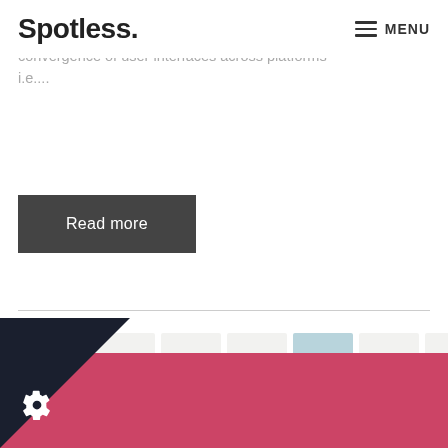Spotless. MENU
most influential emerging ecomm channels. This is partly due to the increasing convergence of user interfaces across platforms i.e....
Read more
« ‹ 3 4 5 6 7 8 9 › »